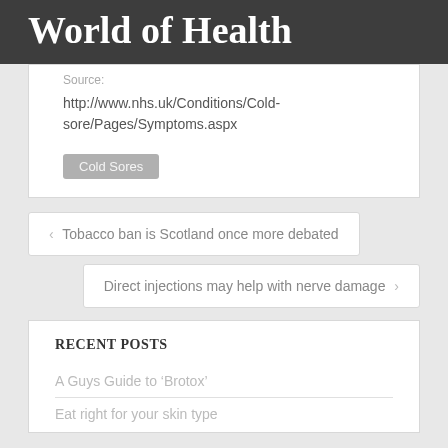World of Health
Source:
http://www.nhs.uk/Conditions/Cold-sore/Pages/Symptoms.aspx
Cold Sores
‹ Tobacco ban is Scotland once more debated
Direct injections may help with nerve damage ›
RECENT POSTS
A Guys Guide to 'Brotox'
Eat right for your skin type